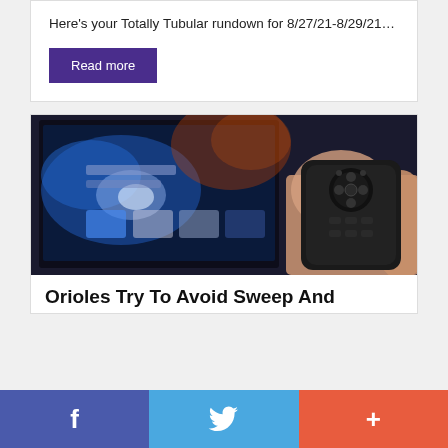Here's your Totally Tubular rundown for 8/27/21-8/29/21…
Read more
[Figure (photo): A hand holding a black TV remote control pointing at a blurred smart TV screen showing a streaming interface with blue-lit menu tiles.]
Orioles Try To Avoid Sweep And
f  [Twitter bird icon]  +